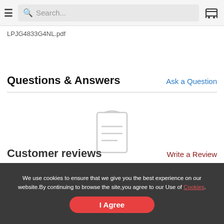Search... [cart icon]
LPJG4833G4NL.pdf
Questions & Answers
Ask a Question
[Figure (illustration): Empty state icon: a document/clipboard with horizontal lines, indicating no data]
No data
Customer reviews
Write a Review
We use cookies to ensure that we give you the best experience on our website.By continuing to browse the site,you agree to our Use of Cookies.
I Agree